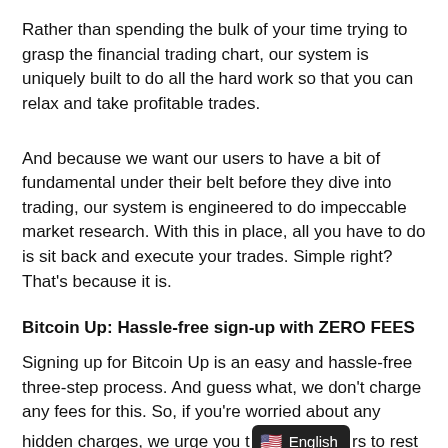Rather than spending the bulk of your time trying to grasp the financial trading chart, our system is uniquely built to do all the hard work so that you can relax and take profitable trades.
And because we want our users to have a bit of fundamental under their belt before they dive into trading, our system is engineered to do impeccable market research. With this in place, all you have to do is sit back and execute your trades. Simple right? That's because it is.
Bitcoin Up: Hassle-free sign-up with ZERO FEES
Signing up for Bitcoin Up is an easy and hassle-free three-step process. And guess what, we don't charge any fees for this. So, if you're worried about any hidden charges, we urge you t [English] rs to rest as we make our dealings 100% trans g up for Bitcoin Up is an easy and hassle-